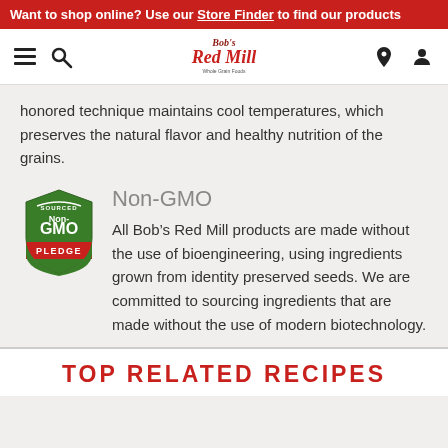Want to shop online? Use our Store Finder to find our products
[Figure (logo): Bob's Red Mill logo with navigation icons (hamburger menu, search, location pin, user icon)]
honored technique maintains cool temperatures, which preserves the natural flavor and healthy nutrition of the grains.
Non-GMO
[Figure (logo): Sourced Non-GMO Pledge badge - green shield with red banner]
All Bob’s Red Mill products are made without the use of bioengineering, using ingredients grown from identity preserved seeds. We are committed to sourcing ingredients that are made without the use of modern biotechnology.
TOP RELATED RECIPES